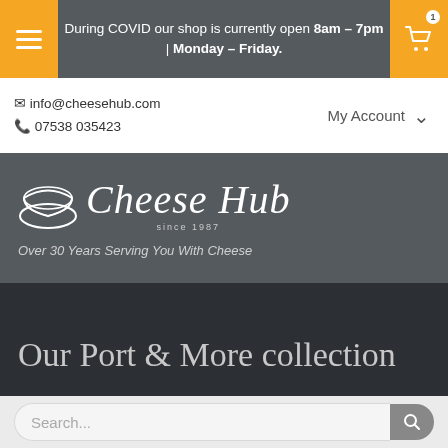During COVID our shop is currently open 8am – 7pm | Monday – Friday.
✉ info@cheesehub.com
📞 07538 035423
My Account
[Figure (logo): Cheese Hub logo with cheese wheel icon and italic script text, tagline: Over 30 Years Serving You With Cheese, since 1987]
Our Port & More collection
Port & More